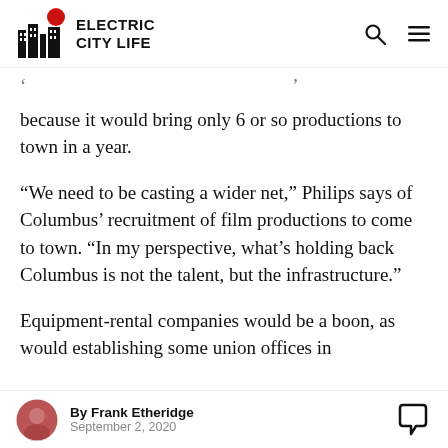ELECTRIC CITY LIFE
because it would bring only 6 or so productions to town in a year.
“We need to be casting a wider net,” Philips says of Columbus’ recruitment of film productions to come to town. “In my perspective, what’s holding back Columbus is not the talent, but the infrastructure.”
Equipment-rental companies would be a boon, as would establishing some union offices in
By Frank Etheridge
September 2, 2020